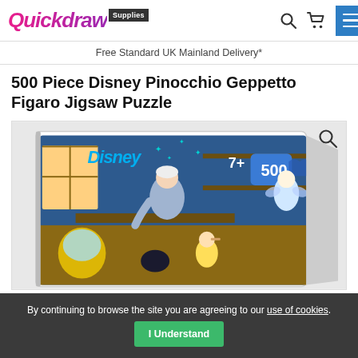Quickdraw Supplies — Free Standard UK Mainland Delivery*
500 Piece Disney Pinocchio Geppetto Figaro Jigsaw Puzzle
[Figure (photo): Product photo of the 500 Piece Disney Pinocchio Geppetto Figaro Jigsaw Puzzle box. Shows Disney branding, '7+' age rating, '500' piece count on a jigsaw puzzle piece, and an illustrated scene of Geppetto in his workshop with Pinocchio, Figaro the cat, Cleo the fish, and the Blue Fairy.]
By continuing to browse the site you are agreeing to our use of cookies.
I Understand